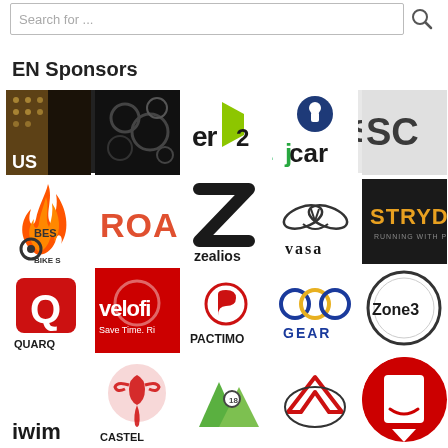Search for ...
EN Sponsors
[Figure (logo): Grid of sponsor logos including: US (dark background), dark circles logo, er2, jcar, SC, blueseventy, Beast Bike, ROA, Zealios, Vasa, STRYD, Quarq, Velofix Save Time.Ri, Pactimo, OCO GEAR, Zone3, iwim, Castelli, mountain trail logo, MV logo, Amazon-style logo, and partial LG INS logo]
EN Sponsors